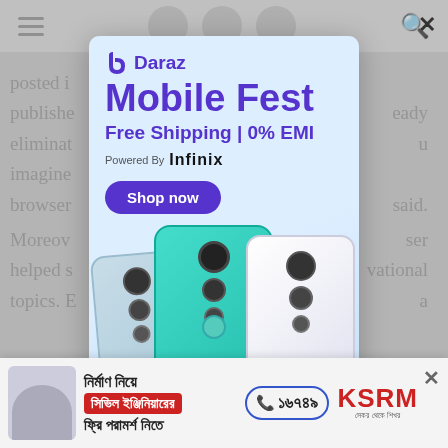[Figure (screenshot): Background webpage with grey header containing hamburger menu icon and search icon, with partially visible article text in Bengali news site]
[Figure (infographic): Daraz Mobile Fest popup advertisement featuring purple branding, 'Mobile Fest' headline, 'Free Shipping | 0% EMI', 'Powered By Infinix' text, 'Shop now' button, and three Infinix smartphones (silver/blue/white colorways)]
[Figure (infographic): Bottom banner advertisement in Bengali: 'নির্মাণ নিয়ে' with red box 'সিভিল ইঞ্জিনিয়ারের', phone number '১৬৭৪৯', 'ফ্রি পরামর্শ নিতে', and KSRM logo with tagline 'সেকর থেকে শিখর']